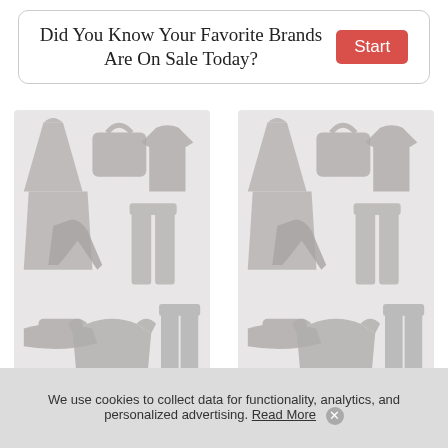Did You Know Your Favorite Brands Are On Sale Today?
[Figure (illustration): Two side-by-side panels showing gray silhouette fashion illustrations including dresses, handbags, t-shirts, high heels, shoes, pants, and sweaters on a light gray background]
[Figure (illustration): Back-to-top button: dark gray square with upward arrow icon]
We use cookies to collect data for functionality, analytics, and personalized advertising. Read More ✕